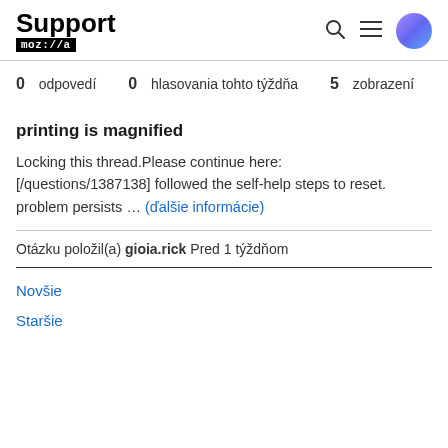Support mozilla
0 odpovedí  0 hlasovania tohto týždňa  5 zobrazení
printing is magnified
Locking this thread.Please continue here: [/questions/1387138] followed the self-help steps to reset. problem persists … (ďalšie informácie)
Otázku položil(a) gioia.rick Pred 1 týždňom
Novšie
Staršie